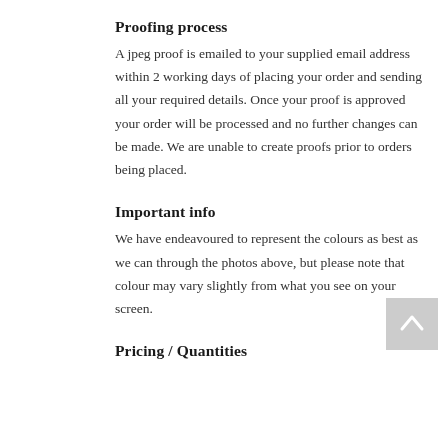Proofing process
A jpeg proof is emailed to your supplied email address within 2 working days of placing your order and sending all your required details. Once your proof is approved your order will be processed and no further changes can be made. We are unable to create proofs prior to orders being placed.
Important info
We have endeavoured to represent the colours as best as we can through the photos above, but please note that colour may vary slightly from what you see on your screen.
Pricing / Quantities